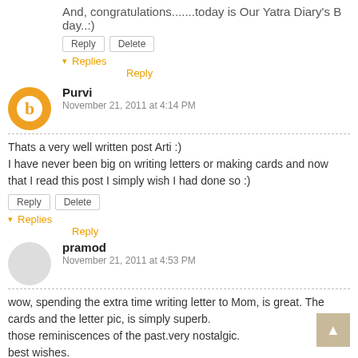And, congratulations.......today is Our Yatra Diary's B day..:)
Reply | Delete
▾ Replies
Reply
Purvi
November 21, 2011 at 4:14 PM
Thats a very well written post Arti :)
I have never been big on writing letters or making cards and now that I read this post I simply wish I had done so :)
Reply | Delete
▾ Replies
Reply
pramod
November 21, 2011 at 4:53 PM
wow, spending the extra time writing letter to Mom, is great. The cards and the letter pic, is simply superb.
those reminiscences of the past.very nostalgic.
best wishes.
Reply | Delete
▾ Replies